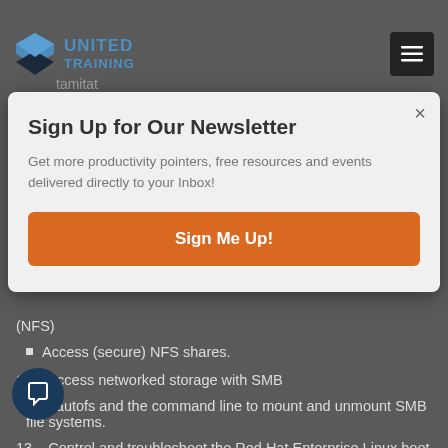United Training
tamitat
Sign Up for Our Newsletter
Get more productivity pointers, free resources and events delivered directly to your Inbox!
Sign Me Up!
(NFS)
Access (secure) NFS shares.
12 – Access networked storage with SMB
Use autofs and the command line to mount and unmount SMB file systems.
13 – Control and troubleshoot the Red Hat Enterprise Linux boot